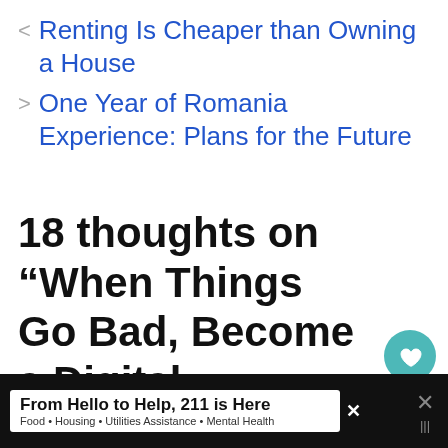< Renting Is Cheaper than Owning a House
> One Year of Romania Experience: Plans for the Future
18 thoughts on “When Things Go Bad, Become a Digital Nomad!”
Teil Jorgensen
March 20, 2014 at 6:34 pm
From Hello to Help, 211 is Here
Food • Housing • Utilities Assistance • Mental Health